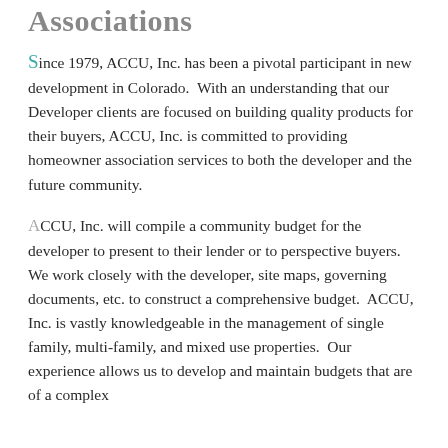Associations
Since 1979, ACCU, Inc. has been a pivotal participant in new development in Colorado.  With an understanding that our Developer clients are focused on building quality products for their buyers, ACCU, Inc. is committed to providing homeowner association services to both the developer and the future community.
ACCU, Inc. will compile a community budget for the developer to present to their lender or to perspective buyers.  We work closely with the developer, site maps, governing documents, etc. to construct a comprehensive budget.  ACCU, Inc. is vastly knowledgeable in the management of single family, multi-family, and mixed use properties.  Our experience allows us to develop and maintain budgets that are of a complex...